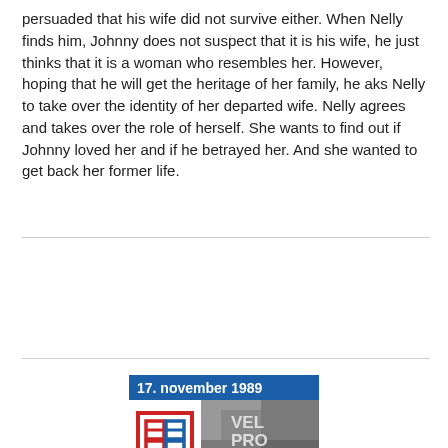persuaded that his wife did not survive either.  When Nelly finds him, Johnny does not suspect that it is his wife, he just thinks that it is a woman who resembles her. However, hoping that he will get the heritage of her family, he aks Nelly to take over the identity of her departed wife.  Nelly agrees and takes over the role of herself. She wants to find out if Johnny loved her and if he betrayed her. And she wanted to get back her former life.
[Figure (photo): Image block with blue header reading '17. november 1989', a red-bordered logo with '89' and a black-and-white protest photo with text partially visible reading 'PRO'.]